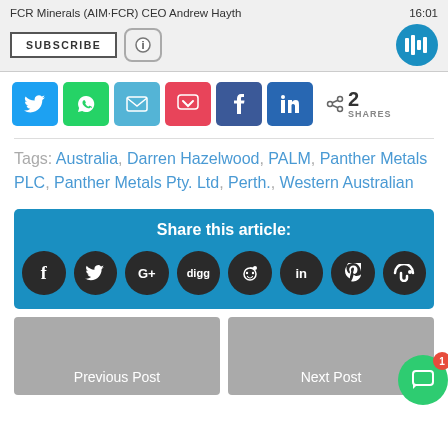FCR Minerals (AIM:FCR) CEO Andrew Hayth  16:01
[Figure (screenshot): Social share bar with Twitter, WhatsApp, email, Pocket, Facebook, LinkedIn buttons and 2 SHARES count]
Tags: Australia, Darren Hazelwood, PALM, Panther Metals PLC, Panther Metals Pty. Ltd, Perth., Western Australian
[Figure (infographic): Share this article box with social media icons: Facebook, Twitter, Google+, Digg, Reddit, LinkedIn, Pinterest, StumbleUpon]
[Figure (screenshot): Previous Post and Next Post navigation boxes side by side]